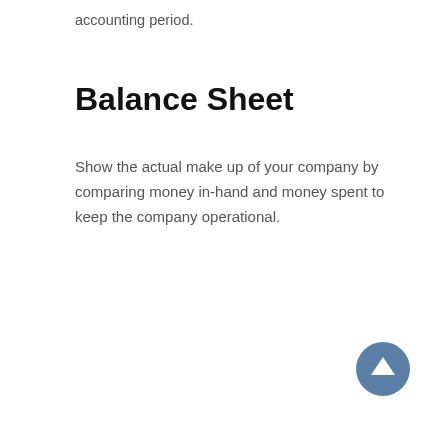accounting period.
Balance Sheet
Show the actual make up of your company by comparing money in-hand and money spent to keep the company operational.
[Figure (other): Circular blue button with white upward arrow icon (scroll-to-top button)]